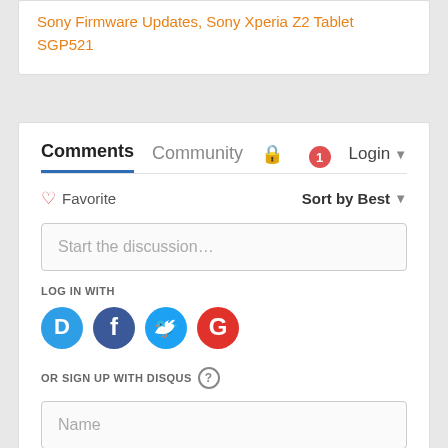Sony Firmware Updates, Sony Xperia Z2 Tablet SGP521
Comments | Community | Login
Favorite | Sort by Best
Start the discussion…
LOG IN WITH
[Figure (logo): Social login icons: Disqus (D), Facebook (f), Twitter bird, Google (G)]
OR SIGN UP WITH DISQUS ?
Name